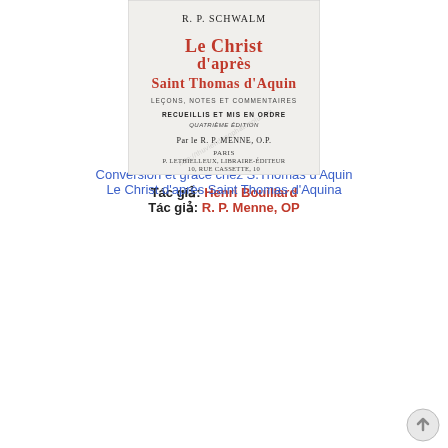[Figure (photo): Book cover of 'Conversion et grâce chez S. Thomas d'Aquin' with watermark text, yellow/cream background]
Conversion et grâce chez S.Thomas d'Aquin
Tác giả: Henri Bouillard
[Figure (photo): Book cover of 'Le Christ d'après Saint Thomas d'Aquin' by R. P. Schwalm, with red title text on grey/white background, watermark]
Le Christ d'après Saint Thomas d'Aquina
Tác giả: R. P. Menne, OP